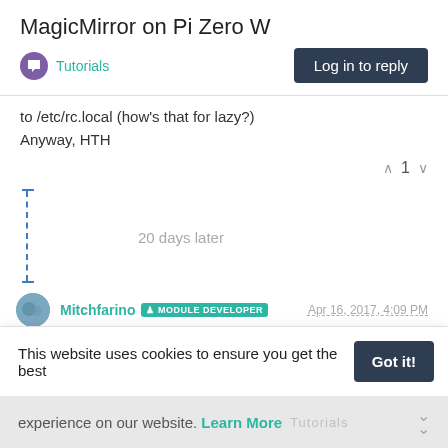MagicMirror on Pi Zero W
Tutorials
Log in to reply
to /etc/rc.local (how's that for lazy?)
Anyway, HTH
1
20 days later
Mitchfarino  MODULE DEVELOPER  Apr 16, 2017, 4:09 PM
This post is deleted!
This website uses cookies to ensure you get the best experience on our website. Learn More